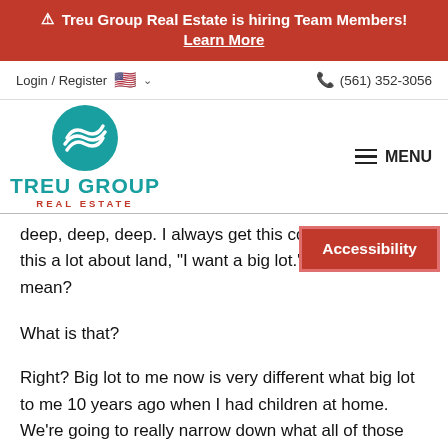⚠ Treu Group Real Estate is hiring Team Members! Learn More
Login / Register  🇺🇸 ∨   📞 (561) 352-3056
[Figure (logo): Treu Group Real Estate logo — teal circular wave icon above the text TREU GROUP REAL ESTATE]
deep, deep, deep. I always get this comment. I get this a lot about land, "I want a big lot." O... mean?
Accessibility
What is that?
Right? Big lot to me now is very different what big lot to me 10 years ago when I had children at home. We're going to really narrow down what all of those things,